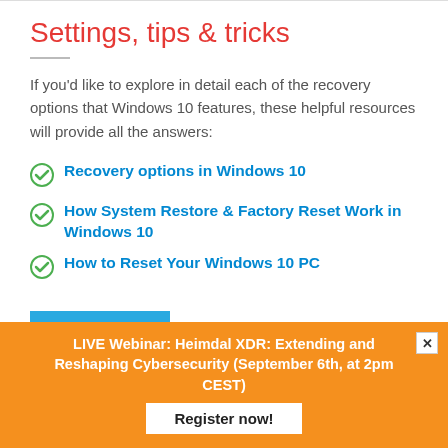Settings, tips & tricks
If you'd like to explore in detail each of the recovery options that Windows 10 features, these helpful resources will provide all the answers:
Recovery options in Windows 10
How System Restore & Factory Reset Work in Windows 10
How to Reset Your Windows 10 PC
FIND MY DEVICE
LIVE Webinar: Heimdal XDR: Extending and Reshaping Cybersecurity (September 6th, at 2pm CEST)
Register now!